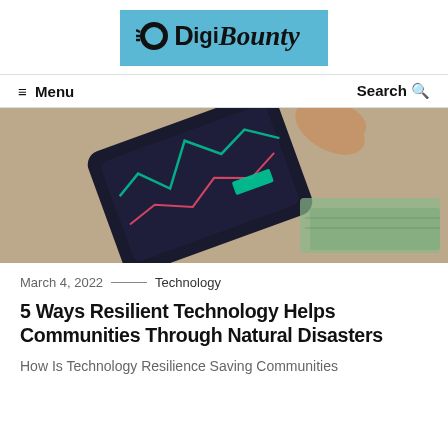[Figure (logo): DigiBounty logo with blue brushstroke background, icon and stylized text]
≡ Menu    Search 🔍
[Figure (photo): A hand holding a smartphone displaying financial trading charts, with US dollar bills in the background]
March 4, 2022 — Technology
5 Ways Resilient Technology Helps Communities Through Natural Disasters
How Is Technology Resilience Saving Communities